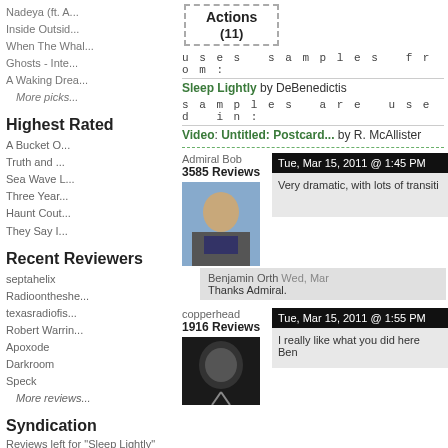Nadeya (ft. A...
Inside Outsid...
When The Whal...
Ghosts - Inte...
A Waking Drea...
More picks...
Highest Rated
A Bucket O...
Truth and ...
Sea Wave L...
Three Year...
Haunt Cout...
They Say I...
Recent Reviewers
septahelix
Radioontheshe...
texasradiofis...
Robert Warrin...
Apoxode
Darkroom
Speck
More reviews...
Syndication
Reviews left for "Sleep Lightly"
Actions (11)
uses samples from:
Sleep Lightly by DeBenedictis
samples are used in:
Video: Untitled: Postcard... by R. McAllister
Admiral Bob
3585 Reviews
Tue, Mar 15, 2011 @ 1:45 PM
Very dramatic, with lots of transiti
Benjamin Orth Wed, Mar
Thanks Admiral.
copperhead
1916 Reviews
Tue, Mar 15, 2011 @ 1:55 PM
I really like what you did here Ben